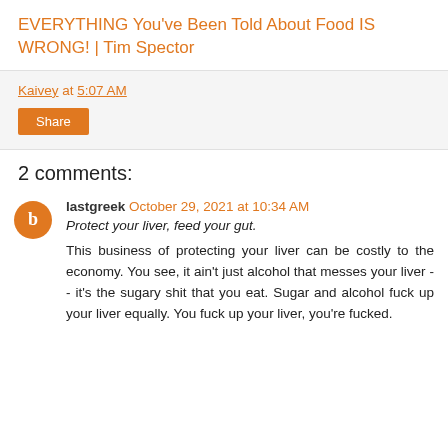EVERYTHING You've Been Told About Food IS WRONG! | Tim Spector
Kaivey at 5:07 AM
Share
2 comments:
lastgreek October 29, 2021 at 10:34 AM
Protect your liver, feed your gut.
This business of protecting your liver can be costly to the economy. You see, it ain't just alcohol that messes your liver -- it's the sugary shit that you eat. Sugar and alcohol fuck up your liver equally. You fuck up your liver, you're fucked.